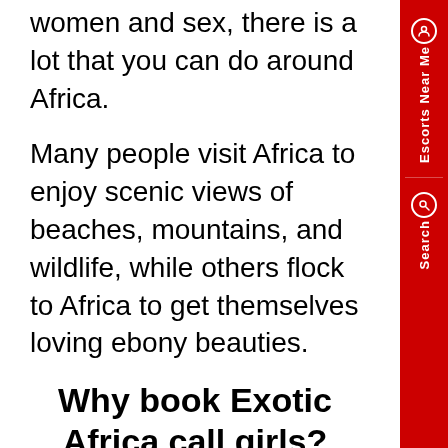women and sex, there is a lot that you can do around Africa.
Many people visit Africa to enjoy scenic views of beaches, mountains, and wildlife, while others flock to Africa to get themselves loving ebony beauties.
Why book Exotic Africa call girls?
African girls love from the heart, and when it comes to beauty, it is not easy to rank them.